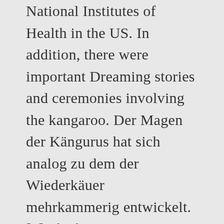National Institutes of Health in the US. In addition, there were important Dreaming stories and ceremonies involving the kangaroo. Der Magen der Kängurus hat sich analog zu dem der Wiederkäuer mehrkammerig entwickelt. [7] The kangaroo is important to both Australian culture and the national image, and consequently there are numerous popular culture references. From then on, it spends increasing time in the outside world and eventually, after about 235 days, it leaves the pouch for the last time. Bachstedt in the region of Thuringia is a place in Germany – some 139 mi (or 223 km) South-West of Berlin, the country's capital city. Once in the pouch, it fastens onto one of